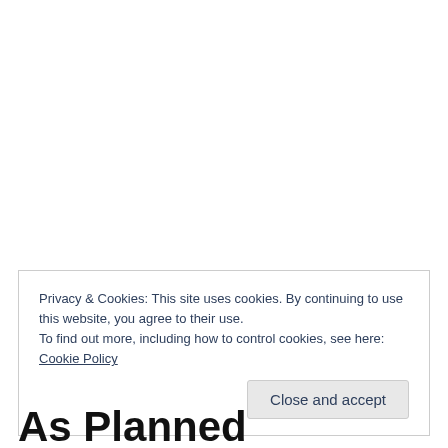Privacy & Cookies: This site uses cookies. By continuing to use this website, you agree to their use.
To find out more, including how to control cookies, see here: Cookie Policy
Close and accept
As Planned